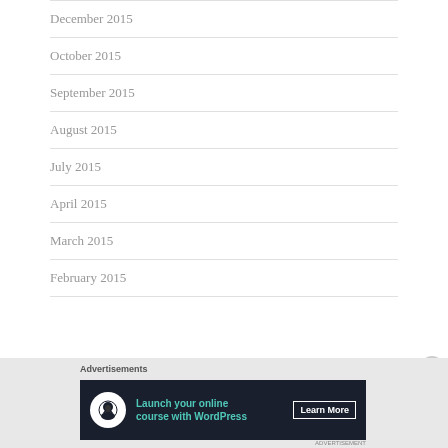December 2015
October 2015
September 2015
August 2015
July 2015
April 2015
March 2015
February 2015
Advertisements
[Figure (other): Advertisement banner: Launch your online course with WordPress — Learn More button. Dark background with teal text and white circle icon.]